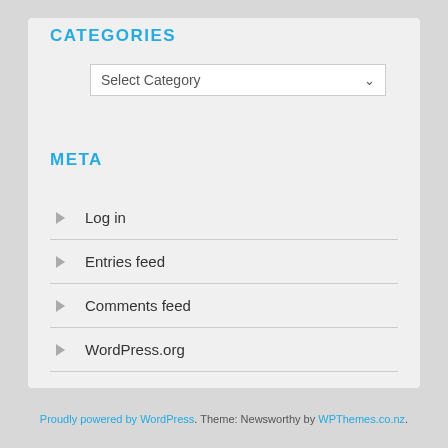CATEGORIES
[Figure (screenshot): A dropdown select box showing 'Select Category' with a down arrow chevron]
META
Log in
Entries feed
Comments feed
WordPress.org
Proudly powered by WordPress. Theme: Newsworthy by WPThemes.co.nz.